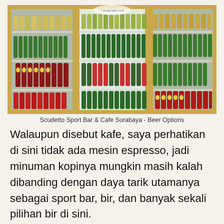[Figure (photo): A commercial glass-door refrigerator display case filled with multiple shelves of beer bottles and cans at Scudetto Sport Bar & Cafe Surabaya. The fridge has three sections with gold/wooden frames and bright interior lighting. Various beer brands visible including green bottles and canned beers. A logo sticker reading 'foodgrapher.com' is visible on the center door.]
Scudetto Sport Bar & Cafe Surabaya - Beer Options
Walaupun disebut kafe, saya perhatikan di sini tidak ada mesin espresso, jadi minuman kopinya mungkin masih kalah dibanding dengan daya tarik utamanya sebagai sport bar, bir, dan banyak sekali pilihan bir di sini.